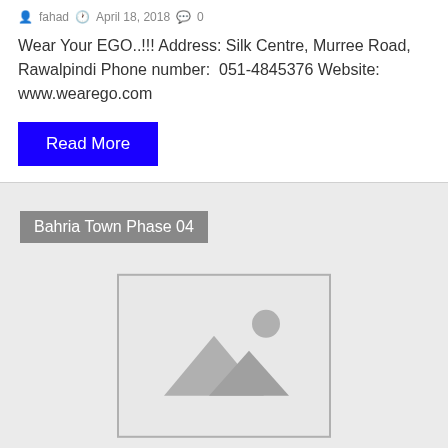fahad  April 18, 2018  0
Wear Your EGO..!!! Address: Silk Centre, Murree Road, Rawalpindi Phone number:  051-4845376 Website: www.wearego.com
Read More
Bahria Town Phase 04
[Figure (photo): Placeholder image with mountains and sun icon, grey background]